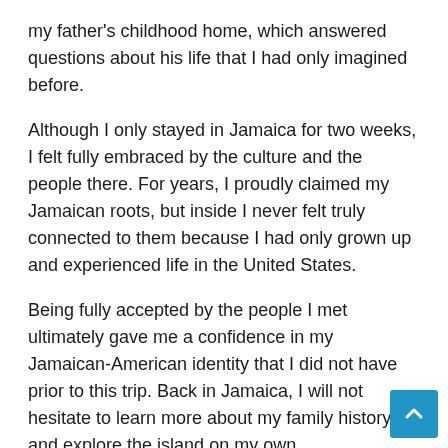my father's childhood home, which answered questions about his life that I had only imagined before.
Although I only stayed in Jamaica for two weeks, I felt fully embraced by the culture and the people there. For years, I proudly claimed my Jamaican roots, but inside I never felt truly connected to them because I had only grown up and experienced life in the United States.
Being fully accepted by the people I met ultimately gave me a confidence in my Jamaican-American identity that I did not have prior to this trip. Back in Jamaica, I will not hesitate to learn more about my family history and explore the island on my own.
Meeting my father's family and friends and experiencing his side of Jamaica made me realize that I could call this place my home.
Next time I go back I won't say I'm going on vacation, I will say